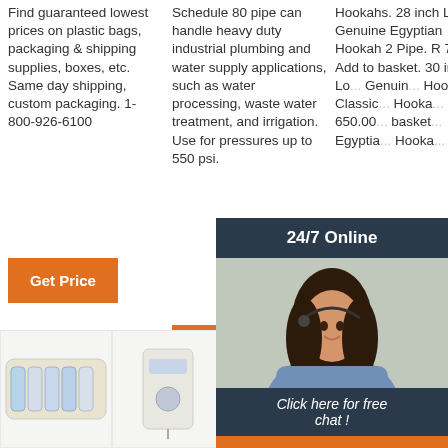Find guaranteed lowest prices on plastic bags, packaging & shipping supplies, boxes, etc. Same day shipping, custom packaging. 1-800-926-6100
Schedule 80 pipe can handle heavy duty industrial plumbing and water supply applications, such as water processing, waste water treatment, and irrigation. Use for pressures up to 550 psi.
Hookahs. 28 inch Long Genuine Egyptian Hookah 2 Pipe. R 700.00 Add to basket. 30 inch Long Genuine Egyptian Hookah Classic Hookah 650.00 Add to basket. Egyptian Hookah...
[Figure (other): Orange Get Price button - column 1]
[Figure (other): Orange Get Price button - column 2]
[Figure (other): Orange Get Price button - column 3]
[Figure (other): Live chat widget overlay with 24/7 Online header, female customer service agent photo, Click here for free chat text, and QUOTATION orange button]
[Figure (photo): Bottom row product images: heat shrink connectors, syringe/tube products, Raytech ring terminals, and TOP logo]
[Figure (logo): TOP logo with orange triangular design in top right area of page]